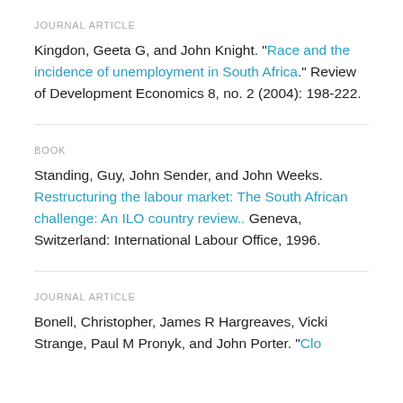JOURNAL ARTICLE
Kingdon, Geeta G, and John Knight. "Race and the incidence of unemployment in South Africa." Review of Development Economics 8, no. 2 (2004): 198-222.
BOOK
Standing, Guy, John Sender, and John Weeks. Restructuring the labour market: The South African challenge: An ILO country review.. Geneva, Switzerland: International Labour Office, 1996.
JOURNAL ARTICLE
Bonell, Christopher, James R Hargreaves, Vicki Strange, Paul M Pronyk, and John Porter. "Clo...